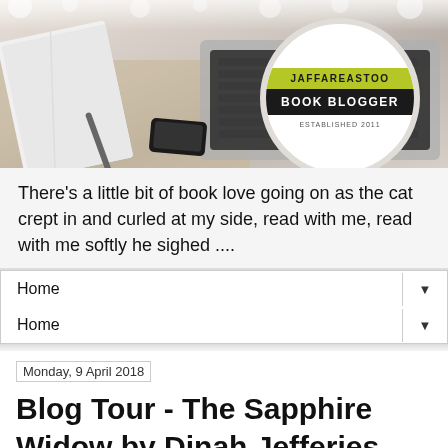[Figure (photo): Banner image of a desk scene with a laptop keyboard, open notebook, pen, and smartphone on a wooden surface. A circular logo badge overlays the right side with 'JAFFAREASTOO' in yellow-green on top, 'BOOK BLOGGER' in white on black below, and 'ESTABLISHED 2011' in small text.]
There's a little bit of book love going on as the cat crept in and curled at my side, read with me, read with me softly he sighed ....
Home
Home
Monday, 9 April 2018
Blog Tour - The Sapphire Widow by Dinah Jefferies